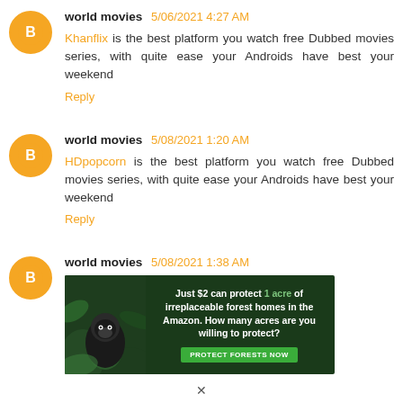world movies 5/06/2021 4:27 AM
Khanflix is the best platform you watch free Dubbed movies series, with quite ease your Androids have best your weekend
Reply
world movies 5/08/2021 1:20 AM
HDpopcorn is the best platform you watch free Dubbed movies series, with quite ease your Androids have best your weekend
Reply
world movies 5/08/2021 1:38 AM
[Figure (infographic): Advertisement banner: dark forest background with gorilla image. Text: 'Just $2 can protect 1 acre of irreplaceable forest homes in the Amazon. How many acres are you willing to protect?' with a green button 'PROTECT FORESTS NOW']